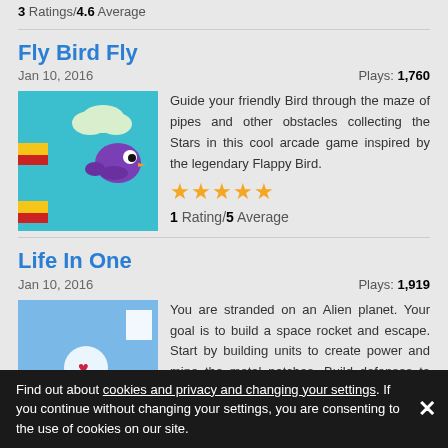3 Ratings/4.6 Average
Fly Bird Fly
Jan 10, 2016    Plays: 1,760
[Figure (screenshot): Game thumbnail for Fly Bird Fly showing a purple bird character in a teal sky with yellow and red platforms]
Guide your friendly Bird through the maze of pipes and other obstacles collecting the Stars in this cool arcade game inspired by the legendary Flappy Bird.
1 Rating/5 Average
Life In One
Jan 10, 2016    Plays: 1,919
[Figure (screenshot): Game thumbnail for Life In One showing a character on blue/green/brown terrain]
You are stranded on an Alien planet. Your goal is to build a space rocket and escape. Start by building units to create power and mine the metal patches. Build defenses to defend your base from the advancing Aliens and Zombies!
2 Ratings/3 Average
Find out about cookies and privacy and changing your settings. If you continue without changing your settings, you are consenting to the use of cookies on our site.